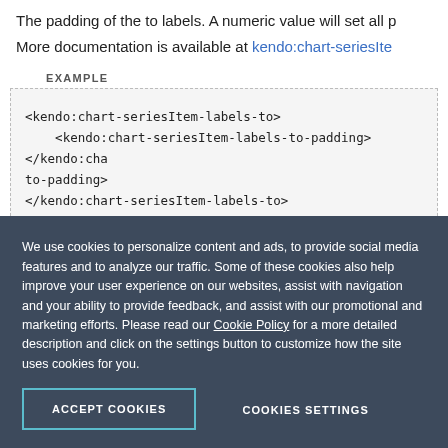The padding of the to labels. A numeric value will set all p
More documentation is available at kendo:chart-seriesIte
EXAMPLE
<kendo:chart-seriesItem-labels-to>
    <kendo:chart-seriesItem-labels-to-padding></kendo:cha to-padding>
</kendo:chart-seriesItem-labels-to>
Event Attributes
We use cookies to personalize content and ads, to provide social media features and to analyze our traffic. Some of these cookies also help improve your user experience on our websites, assist with navigation and your ability to provide feedback, and assist with our promotional and marketing efforts. Please read our Cookie Policy for a more detailed description and click on the settings button to customize how the site uses cookies for you.
ACCEPT COOKIES
COOKIES SETTINGS